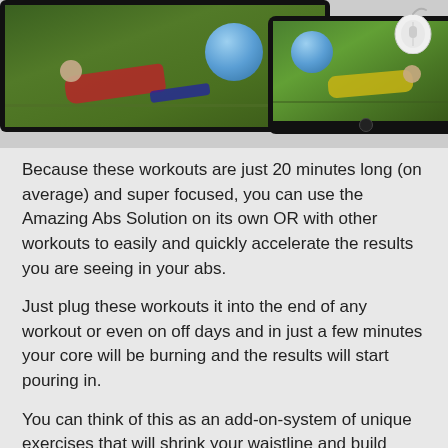[Figure (photo): Composite image showing a large tablet/iPad displaying a man doing a side plank exercise with a blue stability ball outdoors, overlaid with a smaller tablet showing a person in yellow lying on the ground with a blue stability ball, plus a computer mouse in the upper right corner.]
Because these workouts are just 20 minutes long (on average) and super focused, you can use the Amazing Abs Solution on its own OR with other workouts to easily and quickly accelerate the results you are seeing in your abs.
Just plug these workouts it into the end of any workout or even on off days and in just a few minutes your core will be burning and the results will start pouring in.
You can think of this as an add-on-system of unique exercises that will shrink your waistline and build toned or even 6 pack abs!